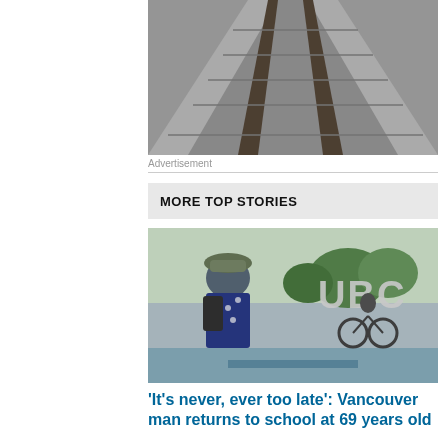[Figure (photo): Close-up photo of railway tracks converging in the distance, viewed from above]
Advertisement
MORE TOP STORIES
[Figure (photo): Man wearing a floral shirt and bucket hat standing in front of a large UBC sign, with a cyclist passing by]
'It's never, ever too late': Vancouver man returns to school at 69 years old